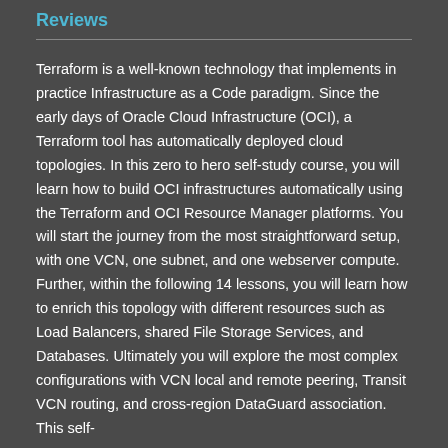Reviews
Terraform is a well-known technology that implements in practice Infrastructure as a Code paradigm. Since the early days of Oracle Cloud Infrastructure (OCI), a Terraform tool has automatically deployed cloud topologies. In this zero to hero self-study course, you will learn how to build OCI infrastructures automatically using the Terraform and OCI Resource Manager platforms. You will start the journey from the most straightforward setup, with one VCN, one subnet, and one webserver compute. Further, within the following 14 lessons, you will learn how to enrich this topology with different resources such as Load Balancers, shared File Storage Services, and Databases. Ultimately you will explore the most complex configurations with VCN local and remote peering, Transit VCN routing, and cross-region DataGuard association. This self-